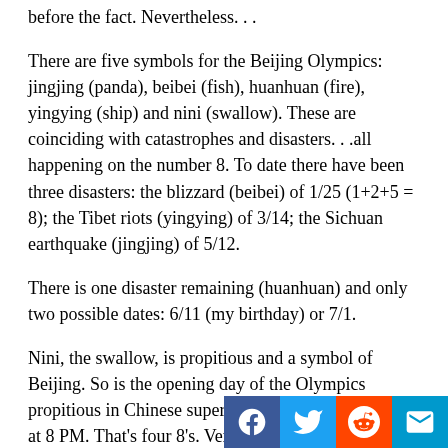before the fact. Nevertheless. . .
There are five symbols for the Beijing Olympics: jingjing (panda), beibei (fish), huanhuan (fire), yingying (ship) and nini (swallow). These are coinciding with catastrophes and disasters. . .all happening on the number 8. To date there have been three disasters: the blizzard (beibei) of 1/25 (1+2+5 = 8); the Tibet riots (yingying) of 3/14; the Sichuan earthquake (jingjing) of 5/12.
There is one disaster remaining (huanhuan) and only two possible dates: 6/11 (my birthday) or 7/1.
Nini, the swallow, is propitious and a symbol of Beijing. So is the opening day of the Olympics propitious in Chinese superstition cosmology: 8/8/08 at 8 PM. That's four 8's. Very propitious indeed: great wealth. Businesses and people will pay thousands to buy phone numbers or license plates wit